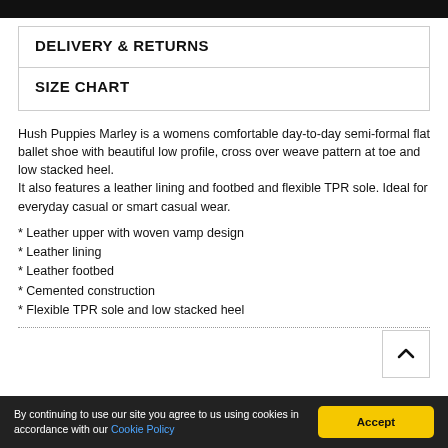DELIVERY & RETURNS
SIZE CHART
Hush Puppies Marley is a womens comfortable day-to-day semi-formal flat ballet shoe with beautiful low profile, cross over weave pattern at toe and low stacked heel.
It also features a leather lining and footbed and flexible TPR sole. Ideal for everyday casual or smart casual wear.
* Leather upper with woven vamp design
* Leather lining
* Leather footbed
* Cemented construction
* Flexible TPR sole and low stacked heel
By continuing to use our site you agree to us using cookies in accordance with our Cookie Policy